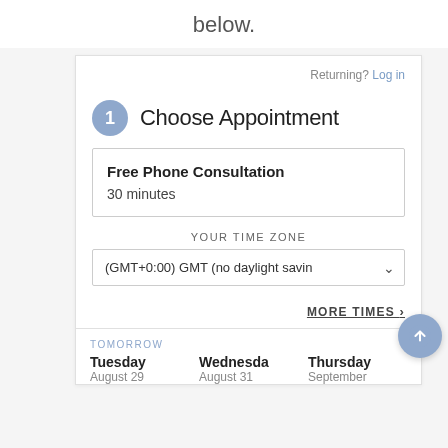below.
Returning? Log in
1 Choose Appointment
Free Phone Consultation
30 minutes
YOUR TIME ZONE
(GMT+0:00) GMT (no daylight savin
MORE TIMES ›
TOMORROW
Tuesday   Wednesday   Thursday
August 29   August 31   September